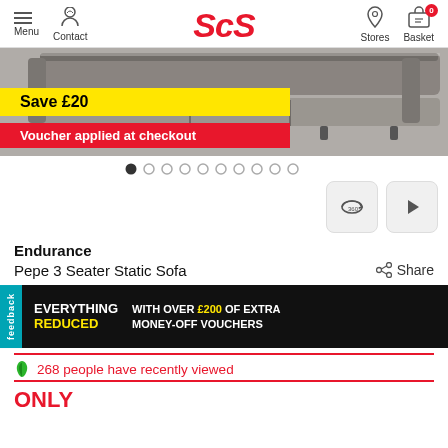Menu | Contact | ScS | Stores | Basket
[Figure (photo): Grey leather 3-seater sofa product image with Save £20 yellow banner and red Voucher applied at checkout banner]
Save £20
Voucher applied at checkout
Endurance
Pepe 3 Seater Static Sofa
Share
[Figure (infographic): Black promotional banner: EVERYTHING REDUCED WITH OVER £200 OF EXTRA MONEY-OFF VOUCHERS]
268 people have recently viewed
ONLY